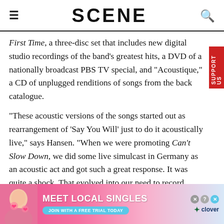SCENE
First Time, a three-disc set that includes new digital studio recordings of the band's greatest hits, a DVD of a nationally broadcast PBS TV special, and "Acoustique," a CD of unplugged renditions of songs from the back catalogue.
"These acoustic versions of the songs started out as rearrangement of 'Say You Will' just to do it acoustically live," says Hansen. "When we were promoting Can't Slow Down, we did some live simulcast in Germany as an acoustic act and got such a great response. It was quite a shock. That evolved into our need to record them. People
[Figure (photo): Advertisement banner: Meet Local Singles - Join with a free trial today - clover dating app]